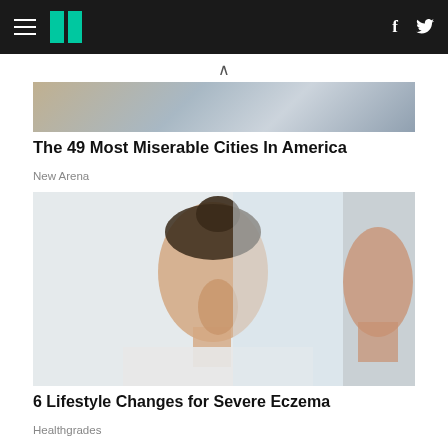HuffPost navigation header with hamburger menu, logo, Facebook and Twitter icons
[Figure (photo): Partial image of a room interior, appearing to be a kitchen or hallway with wooden flooring]
The 49 Most Miserable Cities In America
New Arena
[Figure (photo): A woman in a white top touching her cheek and looking in a mirror, reflecting a skincare theme]
6 Lifestyle Changes for Severe Eczema
Healthgrades